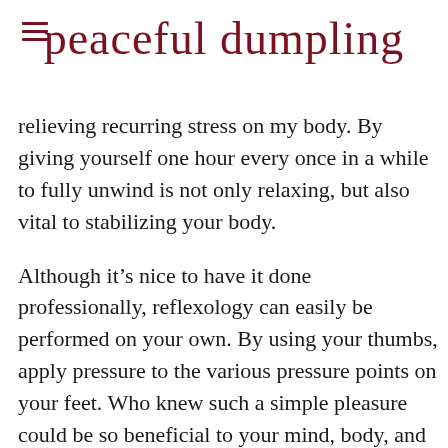peaceful dumpling
relieving recurring stress on my body. By giving yourself one hour every once in a while to fully unwind is not only relaxing, but also vital to stabilizing your body.
Although it’s nice to have it done professionally, reflexology can easily be performed on your own. By using your thumbs, apply pressure to the various pressure points on your feet. Who knew such a simple pleasure could be so beneficial to your mind, body, and soul?